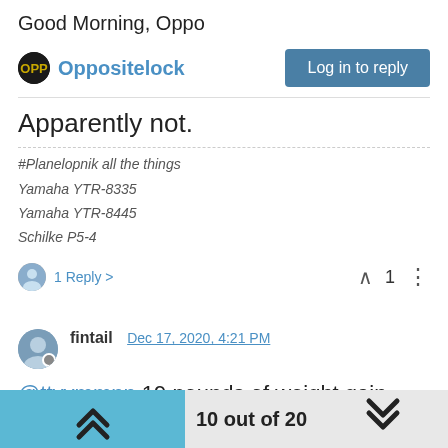Good Morning, Oppo
Oppositelock | Log in to reply
Apparently not.
#Planelopnik all the things
Yamaha YTR-8335
Yamaha YTR-8445
Schilke P5-4
1 Reply > ^ 1 :
fintail   Dec 17, 2020, 4:21 PM
@ttyymmnn 19 pounds of weight gain.
10 out of 20